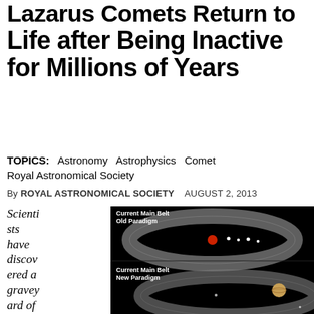Lazarus Comets Return to Life after Being Inactive for Millions of Years
TOPICS: Astronomy Astrophysics Comet Royal Astronomical Society
By ROYAL ASTRONOMICAL SOCIETY   AUGUST 2, 2013
Scientists have discovered a graveyard of comets where
[Figure (illustration): Astronomical diagram showing two paradigms of the Current Main Belt. Top half labeled 'Current Main Belt Old Paradigm' shows an asteroid belt ring with a red dot (the Sun) in the center surrounded by white dots representing planets. Bottom half labeled 'Current Main Belt New Paradigm' shows a larger, more extended belt view with a planet (Jupiter-like) visible to the lower right.]